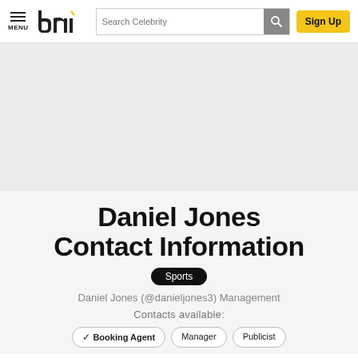MENU | bni logo | Search Celebrity | Sign Up
[Figure (other): Large grey/light background hero image area (blank/placeholder)]
Daniel Jones Contact Information
Sports
Daniel Jones (@danieljones3) Management
Contacts available:
Booking Agent   Manager   Publicist